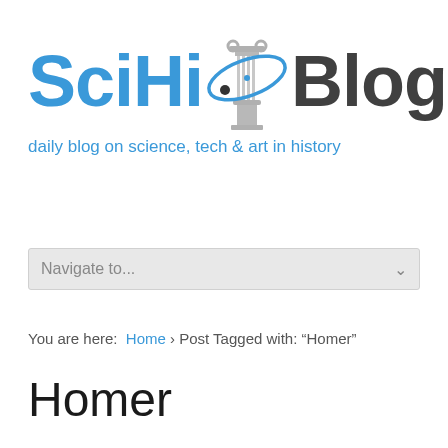[Figure (logo): SciHi Blog logo with column icon and orbital ring graphic, tagline: daily blog on science, tech & art in history]
Navigate to...
You are here:  Home › Post Tagged with: "Homer"
Homer